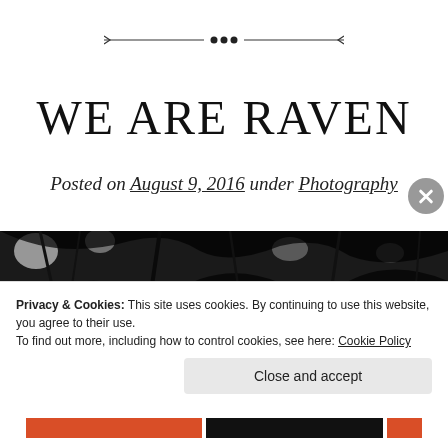[Figure (illustration): Decorative horizontal divider with a central ornament of three dots flanked by lines with small arrow-like ends]
WE ARE RAVEN
Posted on August 9, 2016 under Photography
[Figure (photo): Black and white photograph of forest tree canopy seen from below, with bright light patches visible through the branches]
Privacy & Cookies: This site uses cookies. By continuing to use this website, you agree to their use.
To find out more, including how to control cookies, see here: Cookie Policy
Close and accept